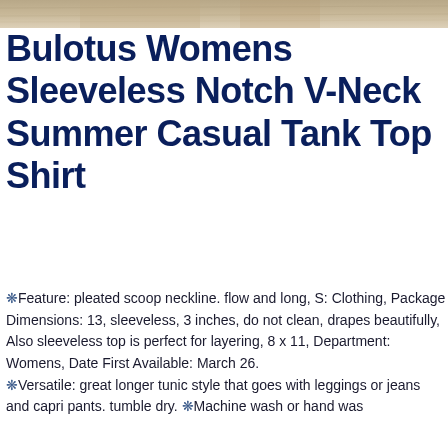[Figure (photo): Partial product image strip at top of page showing fabric/clothing texture]
Bulotus Womens Sleeveless Notch V-Neck Summer Casual Tank Top Shirt
❋Feature: pleated scoop neckline. flow and long, S: Clothing, Package Dimensions: 13, sleeveless, 3 inches, do not clean, drapes beautifully, Also sleeveless top is perfect for layering, 8 x 11, Department: Womens, Date First Available: March 26. ❋Versatile: great longer tunic style that goes with leggings or jeans and capri pants. tumble dry. ❋Machine wash or hand was